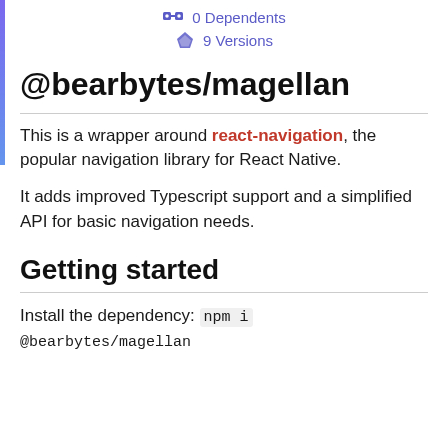0 Dependents
9 Versions
@bearbytes/magellan
This is a wrapper around react-navigation, the popular navigation library for React Native.
It adds improved Typescript support and a simplified API for basic navigation needs.
Getting started
Install the dependency: npm i @bearbytes/magellan